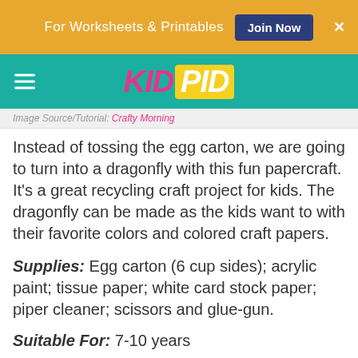For Worksheets & Printables  Join Now  ×
KID PID
Image Source/Tutorial: Crafty Morning
Instead of tossing the egg carton, we are going to turn into a dragonfly with this fun papercraft. It's a great recycling craft project for kids. The dragonfly can be made as the kids want to with their favorite colors and colored craft papers.
Supplies: Egg carton (6 cup sides); acrylic paint; tissue paper; white card stock paper; piper cleaner; scissors and glue-gun.
Suitable For: 7-10 years